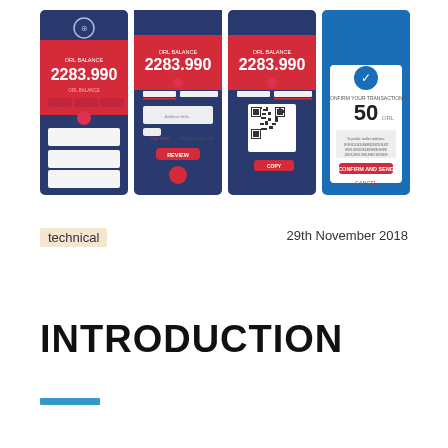[Figure (screenshot): Four mobile app screenshots showing a cryptocurrency wallet application with blue and red UI, displaying balance of 2283.990, send/receive screens with QR code and address input, and a transaction confirmation screen showing 50 units.]
technical
29th November 2018
INTRODUCTION